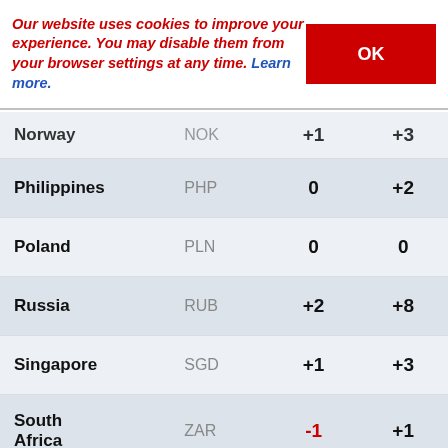Our website uses cookies to improve your experience. You may disable them from your browser settings at any time. Learn more. OK
| Country | Currency | Col3 | Col4 |
| --- | --- | --- | --- |
| Norway | NOK | +1 | +3 |
| Philippines | PHP | 0 | +2 |
| Poland | PLN | 0 | 0 |
| Russia | RUB | +2 | +8 |
| Singapore | SGD | +1 | +3 |
| South Africa | ZAR | -1 | +1 |
| Sweden | SEK | +1 | -1 |
| Switzerland | CHF | +2 | +1 |
| Turkey | TRY | -3 | -4 |